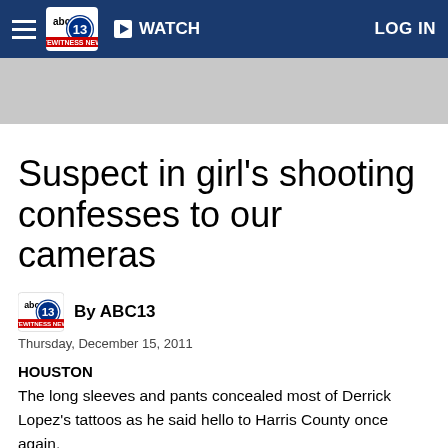ABC13  ▶ WATCH  LOG IN
[Figure (screenshot): ABC13 news website navigation bar with hamburger menu, ABC13 logo, WATCH button, and LOG IN link on dark blue background]
[Figure (photo): Gray advertisement banner placeholder]
Suspect in girl's shooting confesses to our cameras
By ABC13
Thursday, December 15, 2011
HOUSTON
The long sleeves and pants concealed most of Derrick Lopez's tattoos as he said hello to Harris County once again.
"Just experiencing life," he told us.